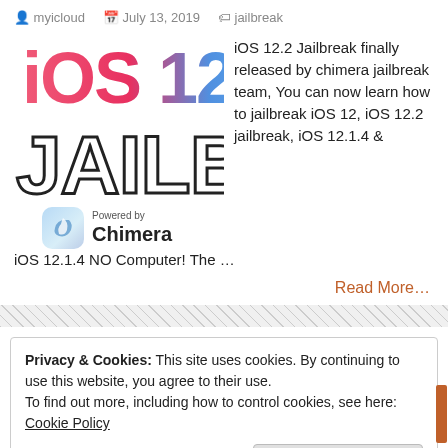myicloud   July 13, 2019   jailbreak
[Figure (screenshot): iOS 12.2 jailbreak promotional image with iOS 12.2 logo in gradient colors (red-pink-blue), large JAILBREAK text in outlined block letters, and Chimera jailbreak tool logo with 'Powered by Chimera' label]
iOS 12.2 Jailbreak finally released by chimera jailbreak team, You can now learn how to jailbreak iOS 12, iOS 12.2 jailbreak, iOS 12.1.4 & iOS 12.1.4 NO Computer! The …
Read More...
Privacy & Cookies: This site uses cookies. By continuing to use this website, you agree to their use.
To find out more, including how to control cookies, see here: Cookie Policy
Close and accept